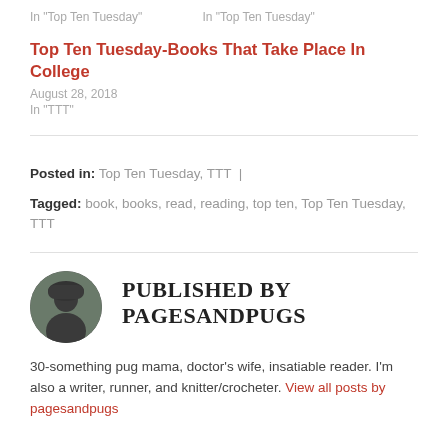In "Top Ten Tuesday"   In "Top Ten Tuesday"
Top Ten Tuesday-Books That Take Place In College
August 28, 2018
In "TTT"
Posted in: Top Ten Tuesday, TTT  |
Tagged: book, books, read, reading, top ten, Top Ten Tuesday, TTT
PUBLISHED BY PAGESANDPUGS
30-something pug mama, doctor's wife, insatiable reader. I'm also a writer, runner, and knitter/crocheter. View all posts by pagesandpugs